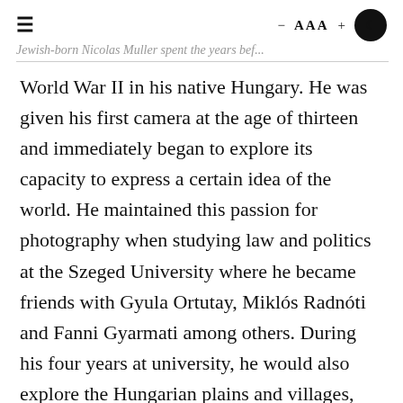Jewish-born Nicolas Muller spent the years before World War II in his native Hungary. — AAA +
World War II in his native Hungary. He was given his first camera at the age of thirteen and immediately began to explore its capacity to express a certain idea of the world. He maintained this passion for photography when studying law and politics at the Szeged University where he became friends with Gyula Ortutay, Miklós Radnóti and Fanni Gyarmati among others. During his four years at university, he would also explore the Hungarian plains and villages, whether on foot, by train or by bike, photographing children, scenes of rural life and the workers building the dykes on the river Tisza.
Like many of his fellow Hungarian photographers at the time, in the 1930s Muller's work was defined by a